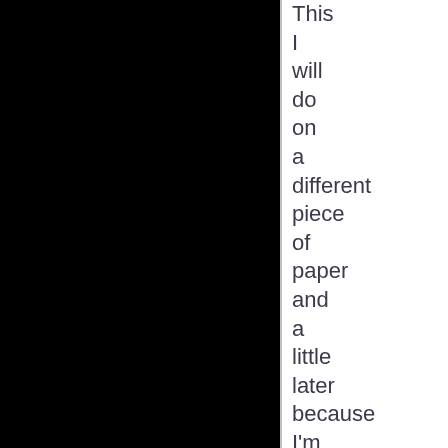This I will do on a different piece of paper and a little later because I'm very tired. Good luck and thanks, Amanda Knox